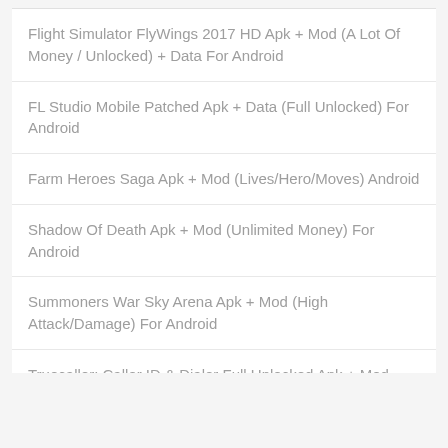Flight Simulator FlyWings 2017 HD Apk + Mod (A Lot Of Money / Unlocked) + Data For Android
FL Studio Mobile Patched Apk + Data (Full Unlocked) For Android
Farm Heroes Saga Apk + Mod (Lives/Hero/Moves) Android
Shadow Of Death Apk + Mod (Unlimited Money) For Android
Summoners War Sky Arena Apk + Mod (High Attack/Damage) For Android
Truecaller: Caller ID & Dialer Full Unlocked Apk + Mod Android